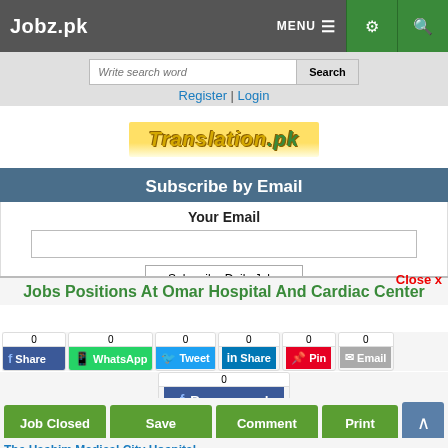Jobz.pk | MENU | [settings icon] | [search icon]
Write search word | Search
Register | Login
[Figure (logo): Translation.pk logo banner in yellow/green italic text]
Subscribe by Email
Your Email
Subscribe Daily Jobs
Jobs Positions At Omar Hospital And Cardiac Center
0 Share | 0 WhatsApp | 0 Tweet | 0 Share | 0 Pin | 0 Email | 0 Recommend
Job Closed | Save | Comment | Print
The Hashim Medical City Hospital